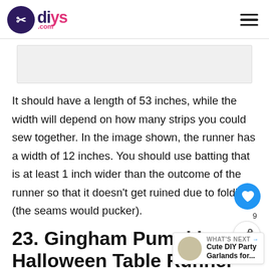diys.com
[Figure (photo): Image placeholder, light gray rectangle]
It should have a length of 53 inches, while the width will depend on how many strips you could sew together. In the image shown, the runner has a width of 12 inches. You should use batting that is at least 1 inch wider than the outcome of the runner so that it doesn't get ruined due to folding (the seams would pucker).
23. Gingham Pumpkins & Halloween Table Runner